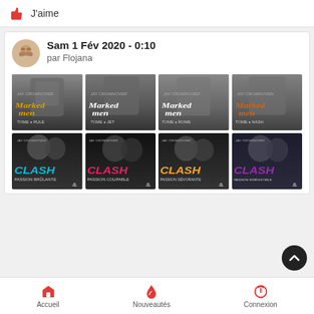J'aime
Sam 1 Fév 2020 - 0:10
par Flojana
[Figure (photo): Grid of 8 book covers: 4 'Marked Men' series by Jay Crownover (tomes 1-4) in top row, and 4 'Clash' series by Jay Crownover (Passion Brûlante, Passion Coupable, Passion Dévorante, Passion Irrésistible) in bottom row]
Accueil
Nouveautés
Connexion